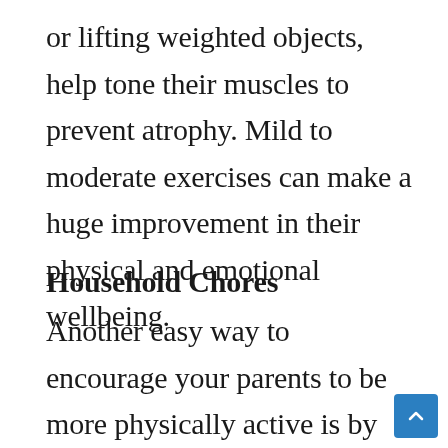or lifting weighted objects, help tone their muscles to prevent atrophy. Mild to moderate exercises can make a huge improvement in their physical and emotional wellbeing.
Household Chores
Another easy way to encourage your parents to be more physically active is by allowing them to do some easy to moderate household chores. Doing so has a proven positive impact as it helps